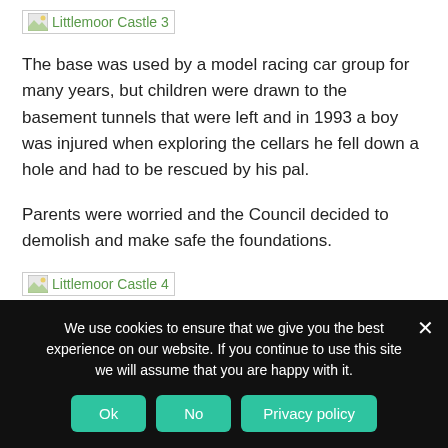[Figure (photo): Broken image placeholder labeled 'Littlemoor Castle 3']
The base was used by a model racing car group for many years, but children were drawn to the basement tunnels that were left and in 1993 a boy was injured when exploring the cellars he fell down a hole and had to be rescued by his pal.
Parents were worried and the Council decided to demolish and make safe the foundations.
[Figure (photo): Broken image placeholder labeled 'Littlemoor Castle 4']
Picture shows cellars before demolition
We use cookies to ensure that we give you the best experience on our website. If you continue to use this site we will assume that you are happy with it.